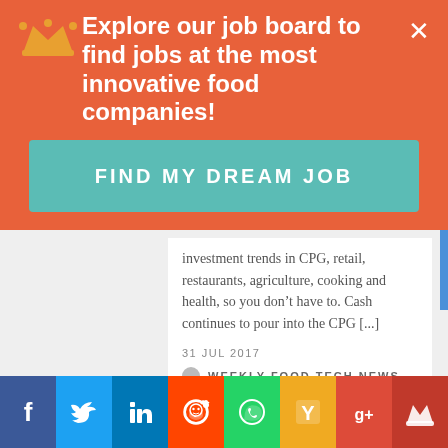Explore our job board to find jobs at the most innovative food companies!
FIND MY DREAM JOB
investment trends in CPG, retail, restaurants, agriculture, cooking and health, so you don't have to. Cash continues to pour into the CPG [...]
31 JUL 2017
WEEKLY FOOD TECH NEWS
[Figure (photo): Two amber/brown juice or beverage bottles with black caps on a gray-brown background]
Social share bar: Facebook, Twitter, LinkedIn, Reddit, WhatsApp, Hacker News, Google+, Crown